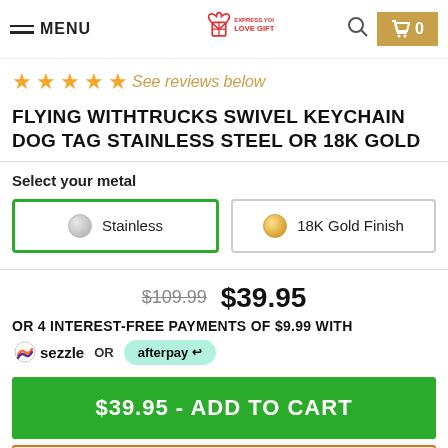MENU | Express Your Love Gifts | Search | Cart 0
★★★★★ See reviews below
FLYING WITHTRUCKS SWIVEL KEYCHAIN DOG TAG STAINLESS STEEL OR 18K GOLD
Select your metal
Stainless | 18K Gold Finish
$109.99  $39.95
OR 4 INTEREST-FREE PAYMENTS OF $9.99 WITH
sezzle OR afterpay
$39.95 - ADD TO CART
Hurry! We Sell Out Frequently